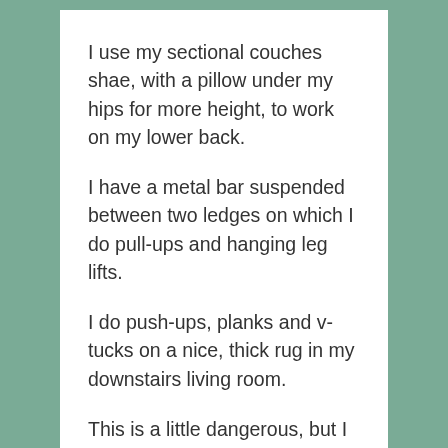I use my sectional couches shae, with a pillow under my hips for more height, to work on my lower back.
I have a metal bar suspended between two ledges on which I do pull-ups and hanging leg lifts.
I do push-ups, planks and v-tucks on a nice, thick rug in my downstairs living room.
This is a little dangerous, but I dangle above my staircase in a corner of the railing to do dips.